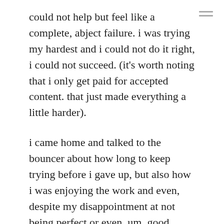could not help but feel like a complete, abject failure. i was trying my hardest and i could not do it right, i could not succeed. (it's worth noting that i only get paid for accepted content. that just made everything a little harder).
i came home and talked to the bouncer about how long to keep trying before i gave up, but also how i was enjoying the work and even, despite my disappointment at not being perfect or even, um, good, enjoying the challenge of trying. i said i would at least give it a full month before i re-evaluated. i could barely even open the documents i worked in without welling up because i felt so incapable, but i kept going.
it's also worth noting that the client was